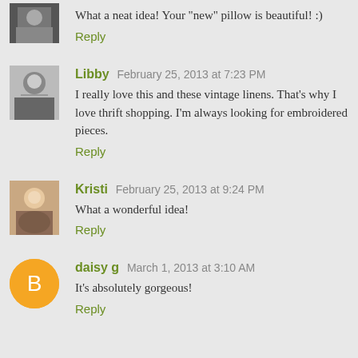What a neat idea! Your "new" pillow is beautiful! :)
Reply
Libby  February 25, 2013 at 7:23 PM
I really love this and these vintage linens. That's why I love thrift shopping. I'm always looking for embroidered pieces.
Reply
Kristi  February 25, 2013 at 9:24 PM
What a wonderful idea!
Reply
daisy g  March 1, 2013 at 3:10 AM
It's absolutely gorgeous!
Reply